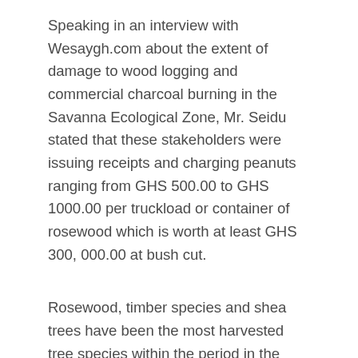Speaking in an interview with Wesaygh.com about the extent of damage to wood logging and commercial charcoal burning in the Savanna Ecological Zone, Mr. Seidu stated that these stakeholders were issuing receipts and charging peanuts ranging from GHS 500.00 to GHS 1000.00 per truckload or container of rosewood which is worth at least GHS 300, 000.00 at bush cut.
Rosewood, timber species and shea trees have been the most harvested tree species within the period in the Savanna Ecological Zone which has been described as fragile zone hence prohibit any form of tree logging.